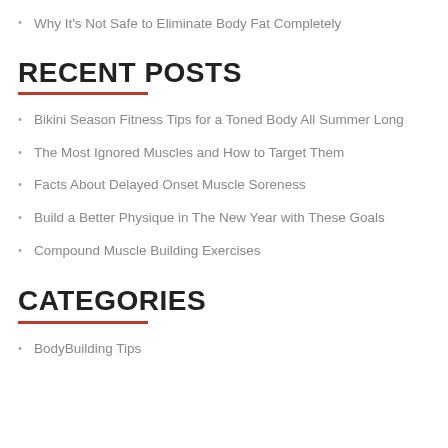Why It's Not Safe to Eliminate Body Fat Completely
RECENT POSTS
Bikini Season Fitness Tips for a Toned Body All Summer Long
The Most Ignored Muscles and How to Target Them
Facts About Delayed Onset Muscle Soreness
Build a Better Physique in The New Year with These Goals
Compound Muscle Building Exercises
CATEGORIES
BodyBuilding Tips